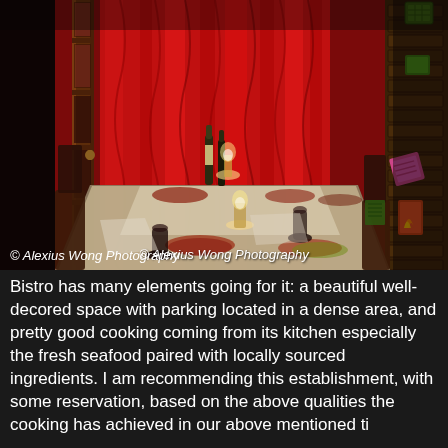[Figure (photo): Interior of a bistro restaurant showing a long dining table set with white tablecloths, candles, wine bottles, and place settings. The room features red curtains/drapes with decorative patterns, a wooden door with glass panes, colorful hanging lanterns or decorations on a brick wall on the right side. The lighting is warm and atmospheric.]
© Alexius Wong Photography
Bistro has many elements going for it: a beautiful well-decored space with parking located in a dense area, and pretty good cooking coming from its kitchen especially the fresh seafood paired with locally sourced ingredients. I am recommending this establishment, with some reservation, based on the above qualities the cooking has achieved in our above mentioned ti